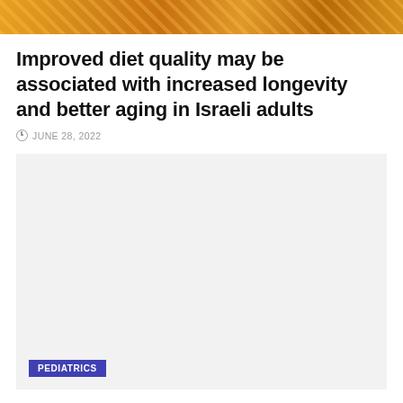[Figure (photo): Top banner image showing food items with warm orange and yellow tones]
Improved diet quality may be associated with increased longevity and better aging in Israeli adults
JUNE 28, 2022
[Figure (other): Gray advertisement/content placeholder box with PEDIATRICS tag label]
PEDIATRICS